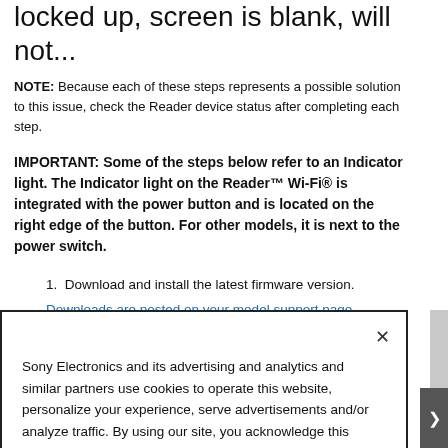locked up, screen is blank, will not...
NOTE: Because each of these steps represents a possible solution to this issue, check the Reader device status after completing each step.
IMPORTANT: Some of the steps below refer to an Indicator light. The Indicator light on the Reader™ Wi-Fi® is integrated with the power button and is located on the right edge of the button. For other models, it is next to the power switch.
Download and install the latest firmware version.
Downloads are posted on your model support page
Sony Electronics and its advertising and analytics and similar partners use cookies to operate this website, personalize your experience, serve advertisements and/or analyze traffic. By using our site, you acknowledge this notice and agree to the use of cookies on our site and to our Privacy Policy.